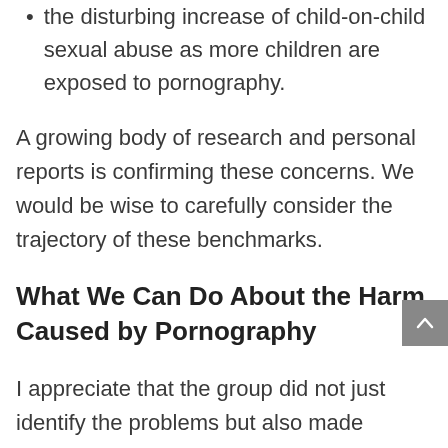the disturbing increase of child-on-child sexual abuse as more children are exposed to pornography.
A growing body of research and personal reports is confirming these concerns. We would be wise to carefully consider the trajectory of these benchmarks.
What We Can Do About the Harm Caused by Pornography
I appreciate that the group did not just identify the problems but also made specific recommendations for action. The consultation called on specific sectors in society to make a difference in their circle of